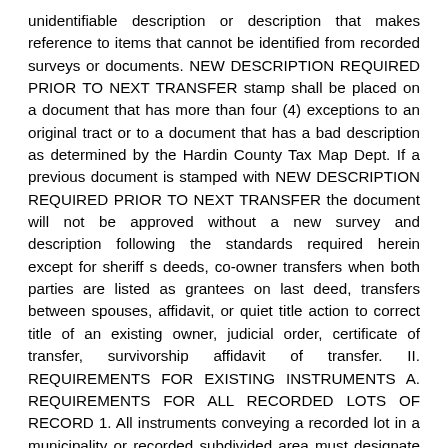unidentifiable description or description that makes reference to items that cannot be identified from recorded surveys or documents. NEW DESCRIPTION REQUIRED PRIOR TO NEXT TRANSFER stamp shall be placed on a document that has more than four (4) exceptions to an original tract or to a document that has a bad description as determined by the Hardin County Tax Map Dept. If a previous document is stamped with NEW DESCRIPTION REQUIRED PRIOR TO NEXT TRANSFER the document will not be approved without a new survey and description following the standards required herein except for sheriff s deeds, co-owner transfers when both parties are listed as grantees on last deed, transfers between spouses, affidavit, or quiet title action to correct title of an existing owner, judicial order, certificate of transfer, survivorship affidavit of transfer. II. REQUIREMENTS FOR EXISTING INSTRUMENTS A. REQUIREMENTS FOR ALL RECORDED LOTS OF RECORD 1. All instruments conveying a recorded lot in a municipality or recorded subdivided area must designate the lot number(s), the official recorded name of the municipality or subdivided area, the plat volume and page reference of official record, and the prior recorded